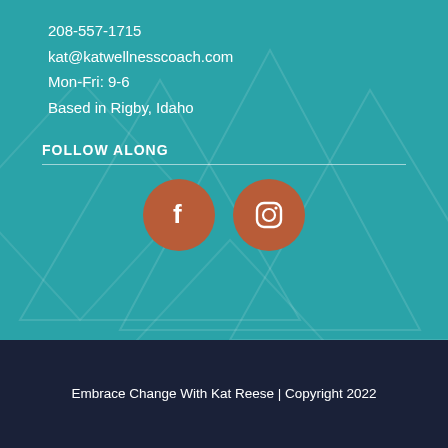208-557-1715
kat@katwellnesscoach.com
Mon-Fri: 9-6
Based in Rigby, Idaho
FOLLOW ALONG
[Figure (illustration): Two social media icon buttons: Facebook (f) and Instagram (camera icon), both in orange/brown circles on teal background]
Embrace Change With Kat Reese | Copyright 2022